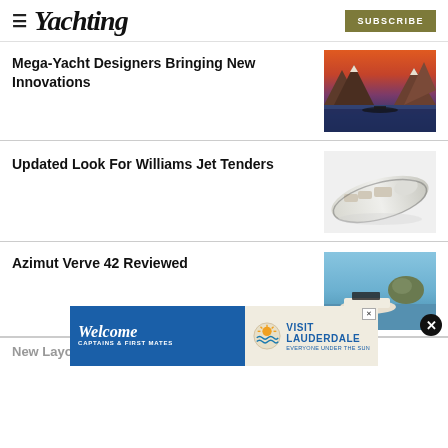Yachting | SUBSCRIBE
Mega-Yacht Designers Bringing New Innovations
[Figure (photo): Aerial view of a mega-yacht on a mountain lake at sunset with dramatic red-orange clouds and rocky peaks]
Updated Look For Williams Jet Tenders
[Figure (photo): White Williams jet tender boat render/render on white background, aerial view]
Azimut Verve 42 Reviewed
[Figure (photo): Azimut Verve 42 motorboat underway at speed with rocky island in background, blue sky]
New Layout For Arcadia Sherpa 60
[Figure (infographic): Welcome Captains & First Mates advertisement banner for Visit Lauderdale]